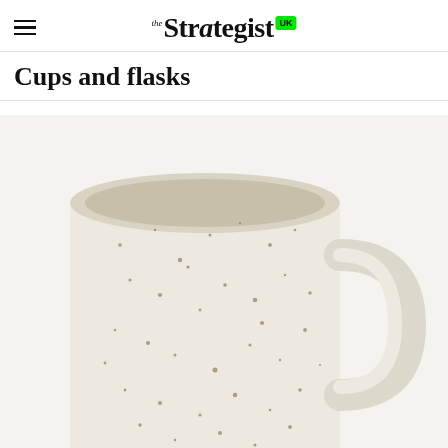the Strategist UK
Cups and flasks
[Figure (photo): A white speckled ceramic mug with a handle, photographed from slightly above on a white background. The mug has a cylindrical shape with brown/dark speckles across its surface.]